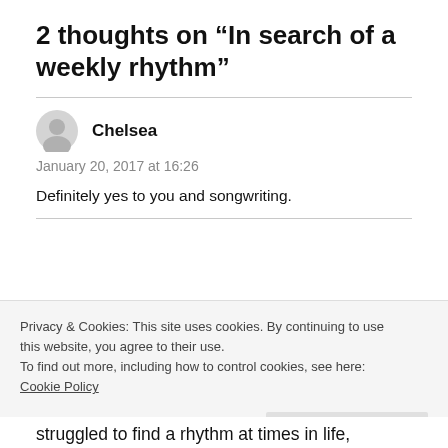2 thoughts on “In search of a weekly rhythm”
Chelsea
January 20, 2017 at 16:26
Definitely yes to you and songwriting.
Privacy & Cookies: This site uses cookies. By continuing to use this website, you agree to their use.
To find out more, including how to control cookies, see here:
Cookie Policy
Close and accept
struggled to find a rhythm at times in life,